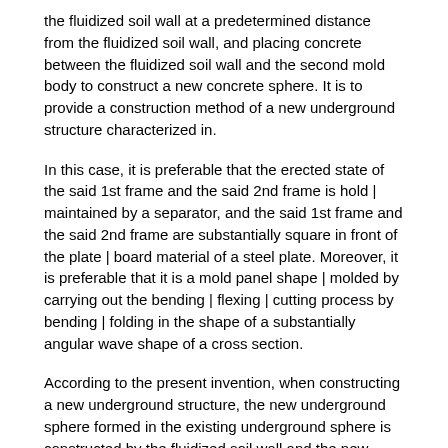the fluidized soil wall at a predetermined distance from the fluidized soil wall, and placing concrete between the fluidized soil wall and the second mold body to construct a new concrete sphere. It is to provide a construction method of a new underground structure characterized in.
In this case, it is preferable that the erected state of the said 1st frame and the said 2nd frame is hold | maintained by a separator, and the said 1st frame and the said 2nd frame are substantially square in front of the plate | board material of a steel plate. Moreover, it is preferable that it is a mold panel shape | molded by carrying out the bending | flexing | cutting process by bending | folding in the shape of a substantially angular wave shape of a cross section.
According to the present invention, when constructing a new underground structure, the new underground sphere formed in the existing underground sphere is constructed by the fluidized soil wall and the new concrete sphere, so that the new underground sphere is constructed only by the new concrete sphere. This can reduce the amount of concrete used. In addition, since the fluidized soil has a specific gravity lower than that of concrete, it is possible to